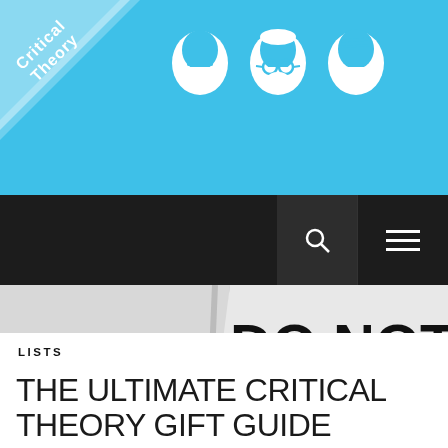[Figure (illustration): Critical Theory website header with sky blue background, 'Critical Theory' diagonal badge in top-left corner, and three white silhouette beard icons (philosophers) centered in the banner.]
[Figure (photo): Black and white photograph of hands holding open a book or sign. The left page reads 'BUY' in large bold letters, and the right page reads 'DO NOT QUESTION AUTHORITY' in large bold letters.]
LISTS
THE ULTIMATE CRITICAL THEORY GIFT GUIDE